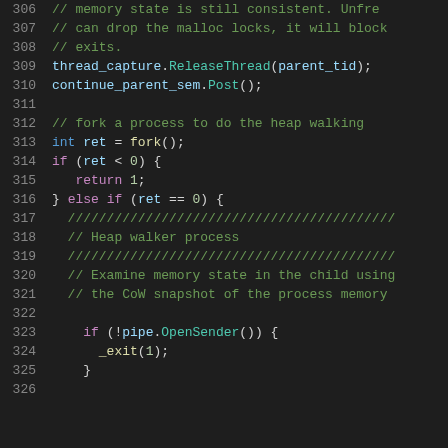[Figure (screenshot): Source code viewer showing C++ code lines 306-326 with syntax highlighting on dark background. Code includes comments about memory state, thread_capture.ReleaseThread, continue_parent_sem.Post, fork() process for heap walking, and a child process block with pipe.OpenSender().]